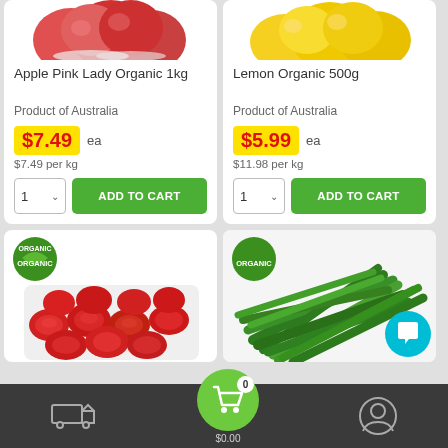[Figure (photo): Apple Pink Lady Organic product card with red apples image at top]
Apple Pink Lady Organic 1kg
Product of Australia
$7.49 ea
$7.49 per kg
[Figure (photo): Lemon Organic product card with yellow lemons image at top]
Lemon Organic 500g
Product of Australia
$5.99 ea
$11.98 per kg
[Figure (photo): Organic cherry tomatoes in a tray with Organic badge]
[Figure (photo): Organic green beans with Organic badge]
Delivery icon | Cart $0.00 (0 items) | Account icon